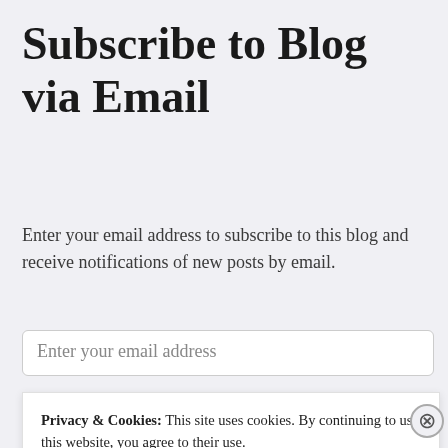Subscribe to Blog via Email
Enter your email address to subscribe to this blog and receive notifications of new posts by email.
Enter your email address
Privacy & Cookies: This site uses cookies. By continuing to use this website, you agree to their use.
To find out more, including how to control cookies, see here: Cookie Policy
Close and accept